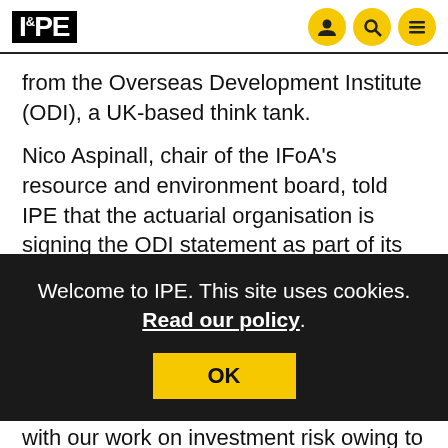IPE
from the Overseas Development Institute (ODI), a UK-based think tank.
Nico Aspinall, chair of the IFoA's resource and environment board, told IPE that the actuarial organisation is signing the ODI statement as part of its ongoing work “to raise awareness of climate ch[ange risks,] b[...]
[Figure (screenshot): Cookie consent overlay on dark background reading: Welcome to IPE. This site uses cookies. Read our policy. With an OK button.]
said, and the IFoA is involved in the ODI’s call to action “because it aligns with our work on investment risk owing to stranded assets”.